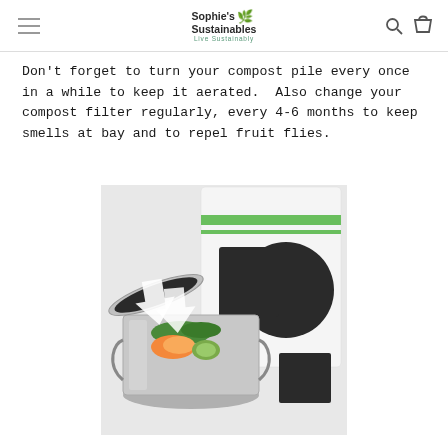Sophie's Sustainables — Live Sustainably
Don't forget to turn your compost pile every once in a while to keep it aerated.  Also change your compost filter regularly, every 4-6 months to keep smells at bay and to repel fruit flies.
[Figure (photo): A stainless steel compost bin with its lid open showing food scraps (orange peels, cucumber slices, herbs). White arrows indicate airflow. Beside it are charcoal/carbon filter pads — a round circle shape, a rectangular square shape, and a smaller square — in front of a product packaging bag with green stripe.]